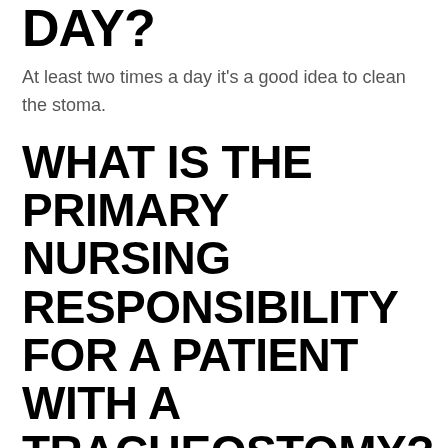DAY?
At least two times a day it's a good idea to clean the stoma.
WHAT IS THE PRIMARY NURSING RESPONSIBILITY FOR A PATIENT WITH A TRACHEOSTOMY?
A tratractal procedure like tychostomy isn't always needed. tracheostomy patients require nurse care that is comprehensive in